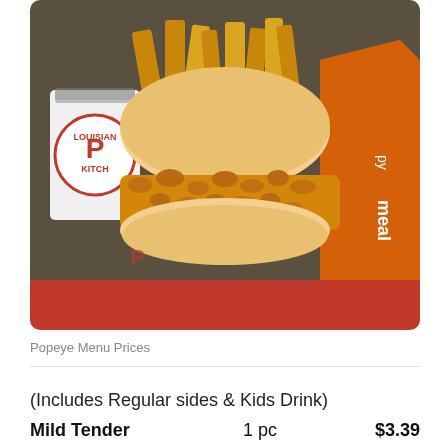[Figure (photo): Popeyes Louisiana Kitchen happy meal with fried chicken sandwich on a bun, waffle fries, and a drink cup with Popeyes logo, displayed with an orange happy meal box, on a red background banner]
Popeye Menu Prices
(Includes Regular sides & Kids Drink)
| Item | Qty | Price |
| --- | --- | --- |
| Mild Tender | 1 pc | $3.39 |